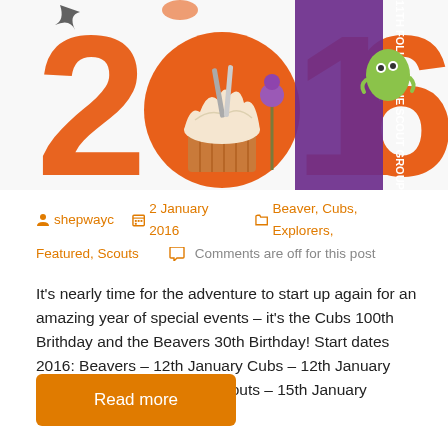[Figure (illustration): Orange '2016' banner with Scout group branding, cartoon cupcake replacing the zero, characters and flowers, with 11th Folkestone Scout Group text on a purple band]
shepwayc   2 January 2016   Beaver, Cubs, Explorers, Featured, Scouts   Comments are off for this post
It's nearly time for the adventure to start up again for an amazing year of special events – it's the Cubs 100th Brithday and the Beavers 30th Birthday! Start dates 2016: Beavers – 12th January Cubs – 12th January Explorers – 13th January Scouts – 15th January
Read more